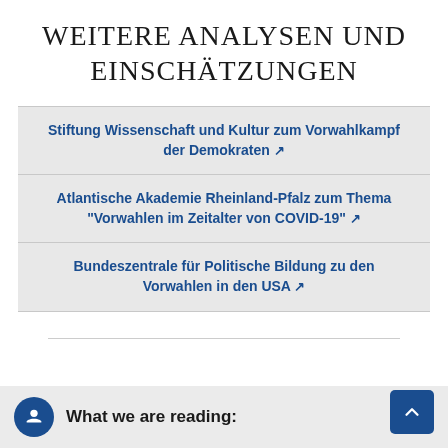WEITERE ANALYSEN UND EINSCHÄTZUNGEN
Stiftung Wissenschaft und Kultur zum Vorwahlkampf der Demokraten ↗
Atlantische Akademie Rheinland-Pfalz zum Thema "Vorwahlen im Zeitalter von COVID-19" ↗
Bundeszentrale für Politische Bildung zu den Vorwahlen in den USA ↗
What we are reading: